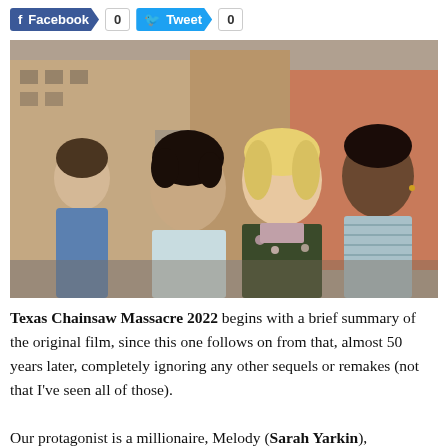[Figure (other): Social media sharing buttons: Facebook with count 0, Tweet with count 0]
[Figure (photo): Four characters from Texas Chainsaw Massacre 2022 standing outdoors in front of brick buildings. From left: a young person in blue denim, a woman with dark curly hair in a light blue shirt, a blonde woman in a floral jacket over a pink top, and a Black man in a striped shirt.]
Texas Chainsaw Massacre 2022 begins with a brief summary of the original film, since this one follows on from that, almost 50 years later, completely ignoring any other sequels or remakes (not that I've seen all of those).
Our protagonist is a millionaire, Melody (Sarah Yarkin),